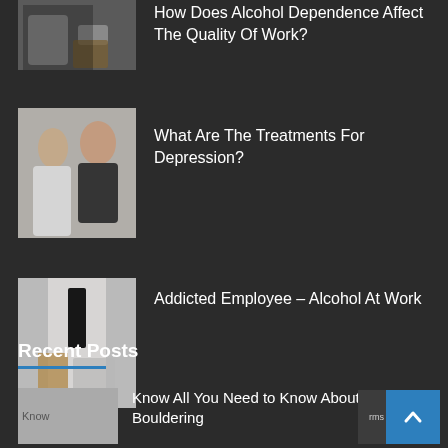[Figure (photo): Person sitting with drink at table - partial view at top]
How Does Alcohol Dependence Affect The Quality Of Work?
[Figure (photo): Two people in a counseling/therapy session]
What Are The Treatments For Depression?
[Figure (photo): Person in suit with alcohol bottle at desk]
Addicted Employee – Alcohol At Work
Recent Posts
[Figure (photo): Know (image placeholder)]
Know All You Need to Know About Bouldering